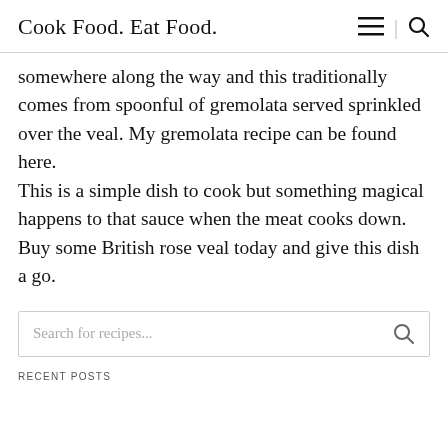Cook Food. Eat Food.
somewhere along the way and this traditionally comes from spoonful of gremolata served sprinkled over the veal. My gremolata recipe can be found here. This is a simple dish to cook but something magical happens to that sauce when the meat cooks down. Buy some British rose veal today and give this dish a go.
Search for recipes...
RECENT POSTS